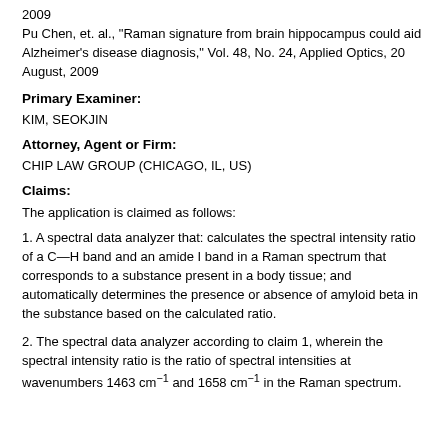2009
Pu Chen, et. al., "Raman signature from brain hippocampus could aid Alzheimer's disease diagnosis," Vol. 48, No. 24, Applied Optics, 20 August, 2009
Primary Examiner:
KIM, SEOKJIN
Attorney, Agent or Firm:
CHIP LAW GROUP (CHICAGO, IL, US)
Claims:
The application is claimed as follows:
1. A spectral data analyzer that: calculates the spectral intensity ratio of a C—H band and an amide I band in a Raman spectrum that corresponds to a substance present in a body tissue; and automatically determines the presence or absence of amyloid beta in the substance based on the calculated ratio.
2. The spectral data analyzer according to claim 1, wherein the spectral intensity ratio is the ratio of spectral intensities at wavenumbers 1463 cm⁻¹ and 1658 cm⁻¹ in the Raman spectrum.